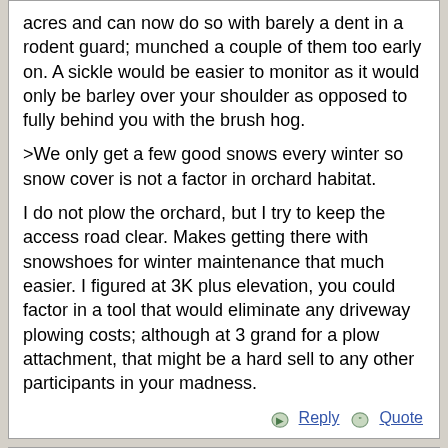acres and can now do so with barely a dent in a rodent guard; munched a couple of them too early on. A sickle would be easier to monitor as it would only be barley over your shoulder as opposed to fully behind you with the brush hog.

>We only get a few good snows every winter so snow cover is not a factor in orchard habitat.

I do not plow the orchard, but I try to keep the access road clear. Makes getting there with snowshoes for winter maintenance that much easier. I figured at 3K plus elevation, you could factor in a tool that would eliminate any driveway plowing costs; although at 3 grand for a plow attachment, that might be a hard sell to any other participants in your madness.
Reply  Quote
David Doncaster
Registered: 10 years ago
Posts: 50
Re: Tractor sizing
December 20, 2016 08:02AM
Ethan, I started off at Hillview with a massy fergusson